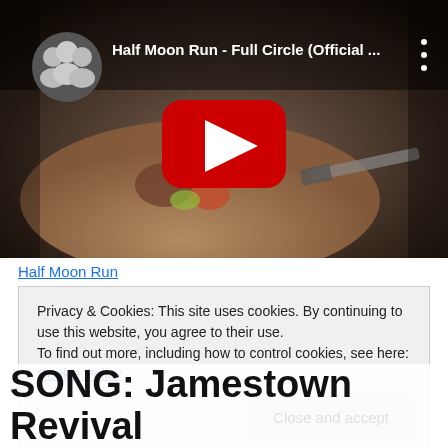[Figure (screenshot): YouTube video embed showing 'Half Moon Run - Full Circle (Official ...' with a red play button in the center, food preparation background image, channel avatar (three people) in top left, video title in white text, three-dot menu icon at top right.]
Half Moon Run
Privacy & Cookies: This site uses cookies. By continuing to use this website, you agree to their use.
To find out more, including how to control cookies, see here: Cookie Policy
Close and accept
SONG: Jamestown Revival